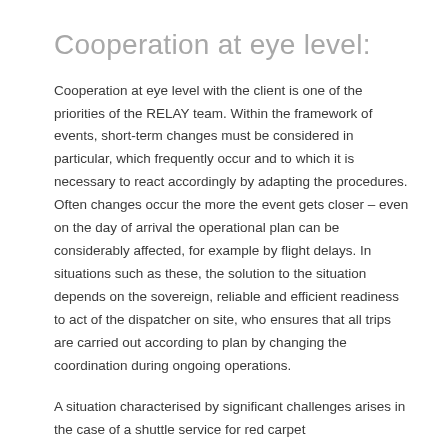Cooperation at eye level:
Cooperation at eye level with the client is one of the priorities of the RELAY team. Within the framework of events, short-term changes must be considered in particular, which frequently occur and to which it is necessary to react accordingly by adapting the procedures. Often changes occur the more the event gets closer – even on the day of arrival the operational plan can be considerably affected, for example by flight delays. In situations such as these, the solution to the situation depends on the sovereign, reliable and efficient readiness to act of the dispatcher on site, who ensures that all trips are carried out according to plan by changing the coordination during ongoing operations.
A situation characterised by significant challenges arises in the case of a shuttle service for red carpet